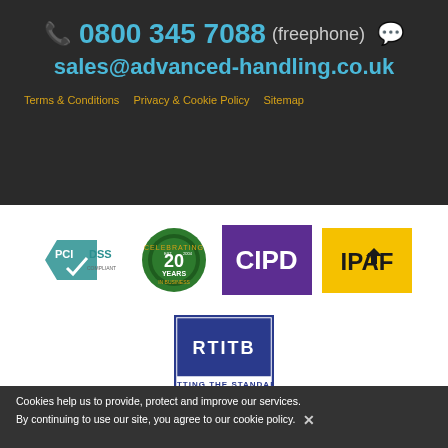0800 345 7088 (freephone)
sales@advanced-handling.co.uk
Terms & Conditions   Privacy & Cookie Policy   Sitemap
[Figure (logo): PCI DSS Compliant logo — teal and grey badge]
[Figure (logo): Celebrating 20 Years in Business — green rosette badge]
[Figure (logo): CIPD logo — white text on purple background]
[Figure (logo): IPAF logo — black text on yellow background]
[Figure (logo): RTITB Setting the Standard logo — blue bordered box]
Cookies help us to provide, protect and improve our services. By continuing to use our site, you agree to our cookie policy. ×